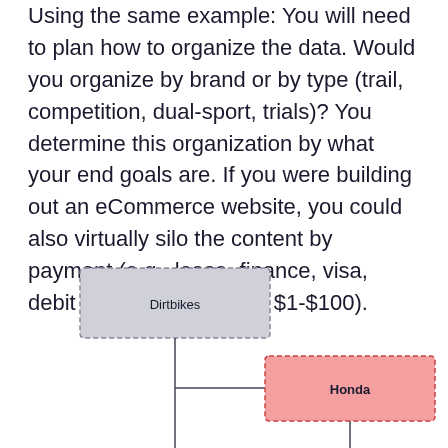Using the same example: You will need to plan how to organize the data. Would you organize by brand or by type (trail, competition, dual-sport, trials)? You determine this organization by what your end goals are. If you were building out an eCommerce website, you could also virtually silo the content by payment (e.g., lease, finance, visa, debit card) or price (e.g., $1-$100).
[Figure (flowchart): A partial organizational chart showing a 'Dirtbikes' node (grey, dashed border) at the top left connected by a vertical line going down, then a horizontal line branching right to a 'Honda' node (pink/red fill, dashed border). A vertical line continues down from Honda.]